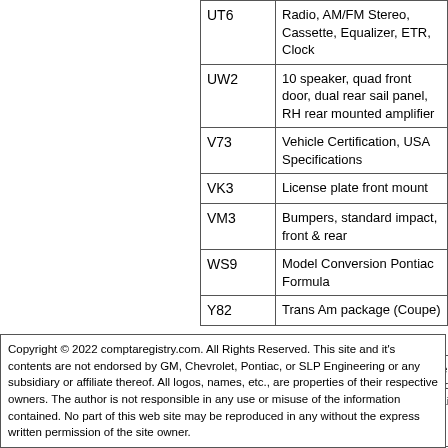| Code | Description |
| --- | --- |
| UT6 | Radio, AM/FM Stereo, Cassette, Equalizer, ETR, Clock |
| UW2 | 10 speaker, quad front door, dual rear sail panel, RH rear mounted amplifier |
| V73 | Vehicle Certification, USA Specifications |
| VK3 | License plate front mount |
| VM3 | Bumpers, standard impact, front & rear |
| WS9 | Model Conversion Pontiac Formula |
| Y82 | Trans Am package (Coupe) |
Is your car missing, register it here. Are you the owner of a already listed car, please register. Need to update any information, please send an email including your name, year, building info and updates to update@comptaregistry.com
Copyright © 2022 comptaregistry.com. All Rights Reserved. This site and it's contents are not endorsed by GM, Chevrolet, Pontiac, or SLP Engineering or any subsidiary or affiliate thereof. All logos, names, etc., are properties of their respective owners. The author is not responsible in any use or misuse of the information contained. No part of this web site may be reproduced in any without the express written permission of the site owner.